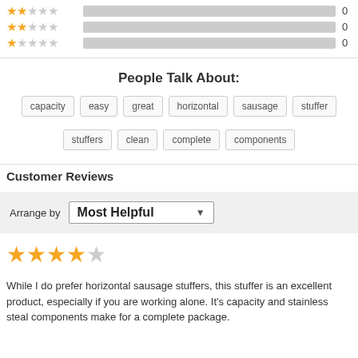[Figure (other): Star rating bars showing 2-star, 1-star ratings with 0 counts each]
People Talk About:
capacity
easy
great
horizontal
sausage
stuffer
stuffers
clean
complete
components
Customer Reviews
Arrange by  Most Helpful
[Figure (other): 4-star rating (4 filled, 1 empty star)]
While I do prefer horizontal sausage stuffers, this stuffer is an excellent product, especially if you are working alone. It's capacity and stainless steal components make for a complete package.